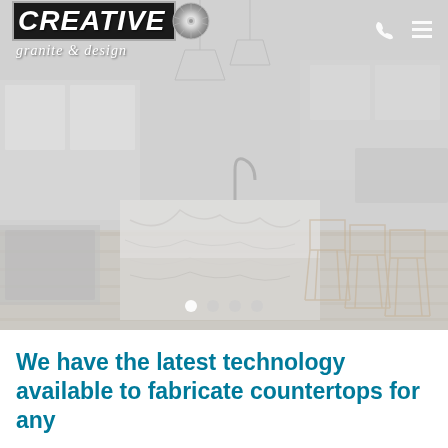[Figure (photo): Hero image of a modern white kitchen with a large marble island/countertop, wire-frame bar stools, white cabinets and appliances, light wood flooring. Muted/washed out gray tone. Navigation bar overlaid at top with Creative Granite & Design logo on left and phone/menu icons on right. Carousel dots at bottom center.]
We have the latest technology available to fabricate countertops for any